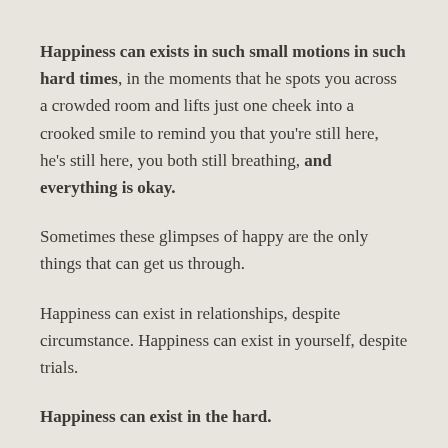Happiness can exists in such small motions in such hard times, in the moments that he spots you across a crowded room and lifts just one cheek into a crooked smile to remind you that you're still here, he's still here, you both still breathing, and everything is okay.
Sometimes these glimpses of happy are the only things that can get us through.
Happiness can exist in relationships, despite circumstance. Happiness can exist in yourself, despite trials.
Happiness can exist in the hard.
And once you grasp that, you are invincible.